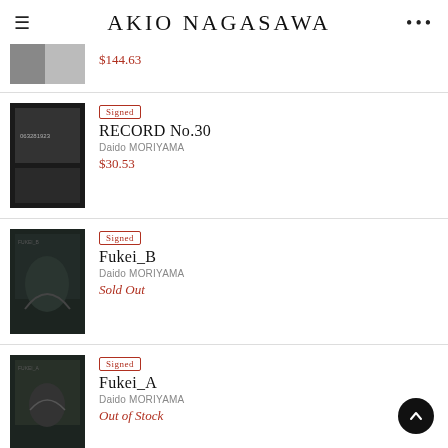AKIO NAGASAWA
$144.63
Signed | RECORD No.30 | Daido MORIYAMA | $30.53
Signed | Fukei_B | Daido MORIYAMA | Sold Out
Signed | Fukei_A | Daido MORIYAMA | Out of Stock
Rare Signed | Moriyama